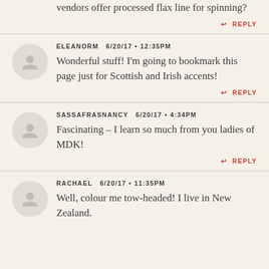vendors offer processed flax line for spinning?
↩ REPLY
ELEANORM 6/20/17 • 12:35PM
Wonderful stuff! I'm going to bookmark this page just for Scottish and Irish accents!
↩ REPLY
SASSAFRASNANCY 6/20/17 • 4:34PM
Fascinating – I learn so much from you ladies of MDK!
↩ REPLY
RACHAEL 6/20/17 • 11:35PM
Well, colour me tow-headed! I live in New Zealand.